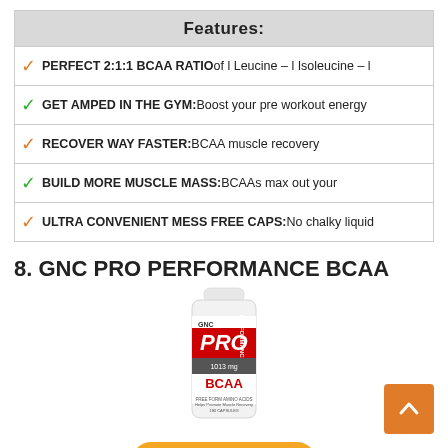Features:
PERFECT 2:1:1 BCAA RATIO of l Leucine – l Isoleucine – l
GET AMPED IN THE GYM: Boost your pre workout energy
RECOVER WAY FASTER: BCAA muscle recovery
BUILD MORE MUSCLE MASS: BCAAs max out your
ULTRA CONVENIENT MESS FREE CAPS: No chalky liquid
8. GNC PRO PERFORMANCE BCAA
[Figure (photo): GNC Pro Performance BCAA supplement bottle, white with red GNC PRO branding and BCAA label]
Buy on Amazon